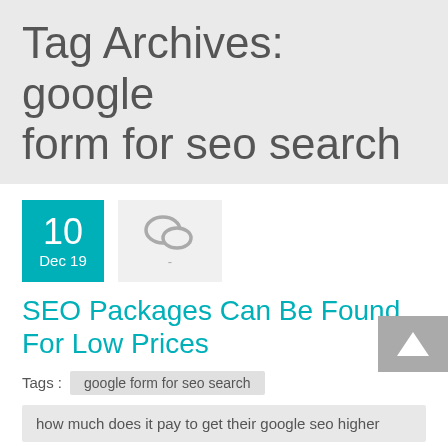Tag Archives: google form for seo search
10 Dec 19
SEO Packages Can Be Found For Low Prices
Tags : google form for seo search
how much does it pay to get their google seo higher
seo ssl google